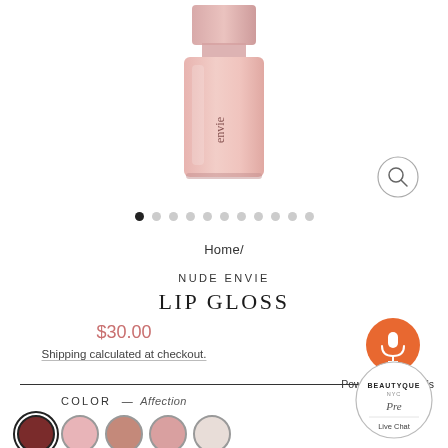[Figure (photo): Nude Envie lip gloss bottle (pink/rose colored glass bottle with brand name visible), partially cropped at top]
Home/
NUDE ENVIE
LIP GLOSS
$30.00
Shipping calculated at checkout.
COLOR — Affection
[Figure (illustration): Five color swatches in circles: dark rose/burgundy (selected), light pink, mauve/terracotta, dusty rose, nude/white]
[Figure (illustration): Vocads orange microphone button widget with 'Powered by Vocads' label]
[Figure (logo): Beautyque NYC 'Pre Live Chat' circular badge widget in bottom right]